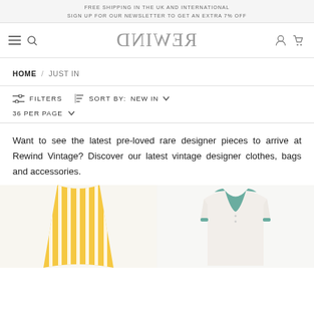FREE SHIPPING IN THE UK AND INTERNATIONAL
SIGN UP FOR OUR NEWSLETTER TO GET AN EXTRA 7% OFF
[Figure (logo): REWIND vintage logo in mirrored serif font]
HOME / JUST IN
FILTERS  SORT BY: NEW IN  ∨  36 PER PAGE  ∨
Want to see the latest pre-loved rare designer pieces to arrive at Rewind Vintage? Discover our latest vintage designer clothes, bags and accessories.
[Figure (photo): Yellow and white striped skirt product photo]
[Figure (photo): White polo shirt with teal/green collar product photo]